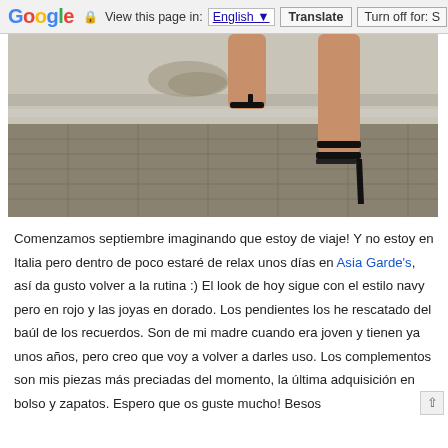Google  View this page in: English [▼]  Translate  Turn off for: S
[Figure (photo): Close-up photo of a woman's legs wearing black high-heeled sandals, walking on stone pavement near a marble wall or steps.]
Comenzamos septiembre imaginando que estoy de viaje! Y no estoy en Italia pero dentro de poco estaré de relax unos días en Asia Garde's, así da gusto volver a la rutina :) El look de hoy sigue con el estilo navy pero en rojo y las joyas en dorado. Los pendientes los he rescatado del baúl de los recuerdos. Son de mi madre cuando era joven y tienen ya unos años, pero creo que voy a volver a darles uso. Los complementos son mis piezas más preciadas del momento, la última adquisición en bolso y zapatos. Espero que os guste mucho! Besos